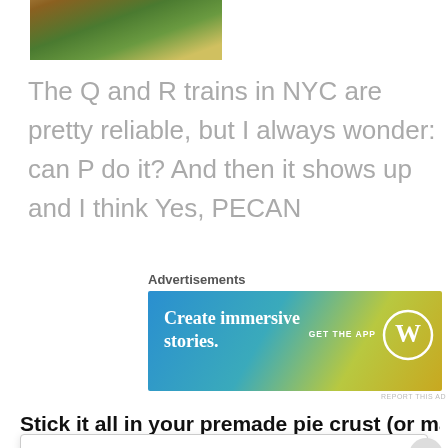[Figure (photo): Cropped photo of a dish with green and brown food, partially visible at top of page]
The Q and R trains in NYC are pretty reliable, but I always wonder: can P do it? And then it shows up and I think Yes, PECAN
Advertisements
[Figure (other): WordPress advertisement banner: 'Create immersive stories. GET THE APP' with WordPress logo]
REPORT THIS AD
Stick it all in your premade pie crust (or make the stupid
Privacy & Cookies: This site uses cookies. By continuing to use this website, you agree to their use.
To find out more, including how to control cookies, see here: Cookie Policy
Close and accept